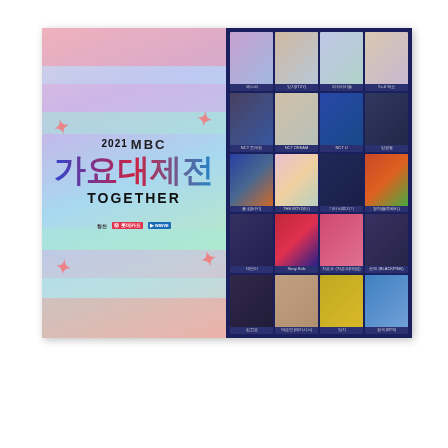[Figure (photo): 2021 MBC 가요대제전 TOGETHER event promotional booklet spread. Left side: colorful striped background with event logo '2021 MBC 가요대제전 TOGETHER' and sponsor logos. Right side: dark blue grid of 20 artist/group photos with Korean name captions including aespa, IVE, 여자아이들, NCT 드림, NCT U, 임영웅, and others.]